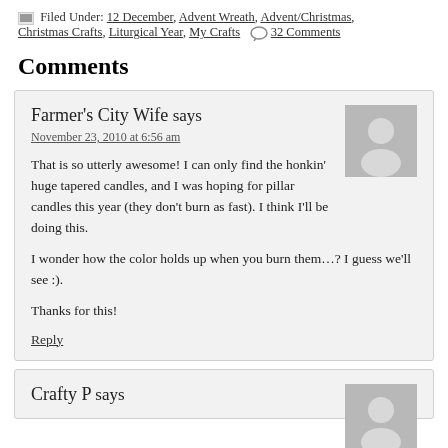Filed Under: 12 December, Advent Wreath, Advent/Christmas, Christmas Crafts, Liturgical Year, My Crafts  32 Comments
Comments
Farmer's City Wife says
November 23, 2010 at 6:56 am
That is so utterly awesome! I can only find the honkin' huge tapered candles, and I was hoping for pillar candles this year (they don't burn as fast). I think I'll be doing this.
I wonder how the color holds up when you burn them…? I guess we'll see :).
Thanks for this!
Reply
Crafty P says